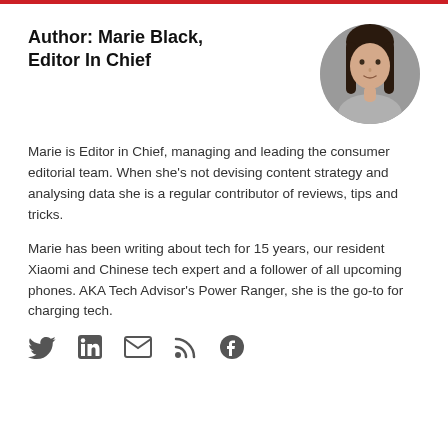Author: Marie Black, Editor In Chief
[Figure (photo): Circular headshot photo of Marie Black with dark hair, smiling slightly, wearing a grey top.]
Marie is Editor in Chief, managing and leading the consumer editorial team. When she's not devising content strategy and analysing data she is a regular contributor of reviews, tips and tricks.
Marie has been writing about tech for 15 years, our resident Xiaomi and Chinese tech expert and a follower of all upcoming phones. AKA Tech Advisor's Power Ranger, she is the go-to for charging tech.
[Figure (infographic): Row of social media icons: Twitter (bird), LinkedIn, Email (envelope), RSS feed, Facebook.]